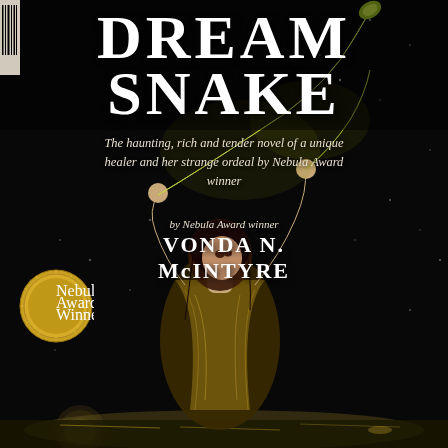[Figure (illustration): Book cover of 'Dream Snake' by Vonda N. McIntyre. Dark black background with stars. A woman with dark hair, wearing a golden/ochre draped garment, holds a glowing green and gold snake aloft with both arms raised. A post-apocalyptic landscape with water is visible at the bottom. A Nebula Award winner badge in gold is on the left side. A barcode strip is partially visible at the top left corner.]
DREAM SNAKE
The haunting, rich and tender novel of a unique healer and her strange ordeal by Nebula Award winner
VONDA N. McINTYRE
Nebula Award Winner